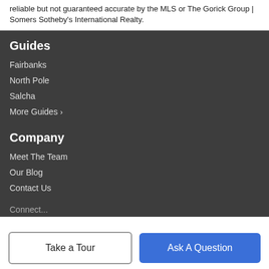reliable but not guaranteed accurate by the MLS or The Gorick Group | Somers Sotheby's International Realty.
Guides
Fairbanks
North Pole
Salcha
More Guides ›
Company
Meet The Team
Our Blog
Contact Us
Connect...
Take a Tour
Ask A Question